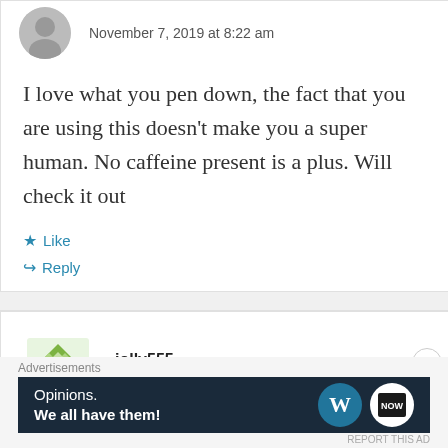November 7, 2019 at 8:22 am
I love what you pen down, the fact that you are using this doesn't make you a super human. No caffeine present is a plus. Will check it out
Like
Reply
[Figure (illustration): Green geometric avatar icon for user jolly555]
jolly555
November 7, 2019 at 8:47 am
Advertisements
[Figure (screenshot): Advertisement banner: Opinions. We all have them! with WordPress and another logo]